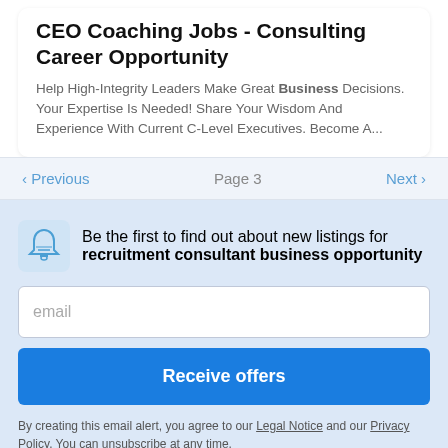CEO Coaching Jobs - Consulting Career Opportunity
Help High-Integrity Leaders Make Great Business Decisions. Your Expertise Is Needed! Share Your Wisdom And Experience With Current C-Level Executives. Become A...
< Previous   Page 3   Next >
Be the first to find out about new listings for recruitment consultant business opportunity
email
Receive offers
By creating this email alert, you agree to our Legal Notice and our Privacy Policy. You can unsubscribe at any time.